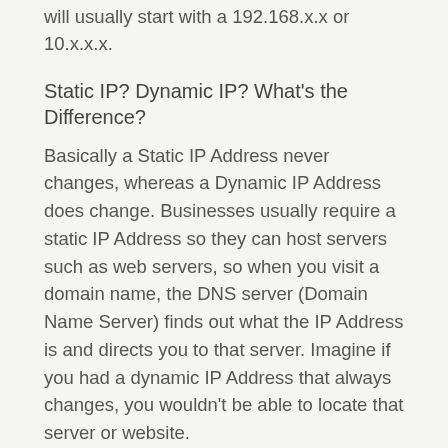will usually start with a 192.168.x.x or 10.x.x.x.
Static IP? Dynamic IP? What's the Difference?
Basically a Static IP Address never changes, whereas a Dynamic IP Address does change. Businesses usually require a static IP Address so they can host servers such as web servers, so when you visit a domain name, the DNS server (Domain Name Server) finds out what the IP Address is and directs you to that server. Imagine if you had a dynamic IP Address that always changes, you wouldn't be able to locate that server or website.
Most residential customers will be assigned dynamic IP Addresses by their ISP. The reason being is that they don't need to run servers and it's easier to manage.
What's better – Dynamic or Static?
It's really depends on what you require as each have